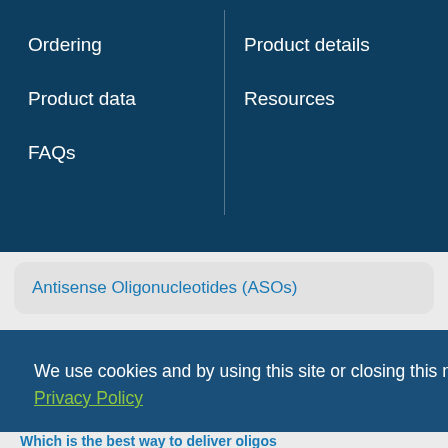Ordering
Product details
Product data
Resources
FAQs
Antisense Oligonucleotides (ASOs)
We use cookies and by using this site or closing this message, you agree to our privacy policy.  Privacy Policy
Close
Allow cookies
Which is the best way to deliver oligos